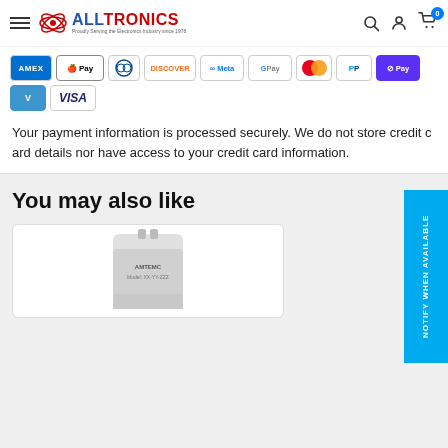ALLTRONICS — Proudly Serving the Electronics Industry since 1978
[Figure (logo): Alltronics logo with atom icon and tagline 'Proudly Serving the Electronics Industry since 1978']
[Figure (infographic): Payment method icons: American Express, Apple Pay, Diners Club, Discover, Meta Pay, Google Pay, Mastercard, PayPal, Shop Pay, Venmo, Visa]
Your payment information is processed securely. We do not store credit card details nor have access to your credit card information.
You may also like
[Figure (photo): Product image of a capacitor or electronic component with AMTEMC branding, blurred/cropped]